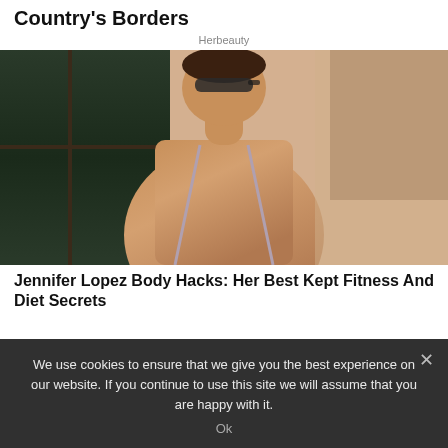Country's Borders
Herbeauty
[Figure (photo): Woman in bikini top, sunglasses, posed against wall and window, sunny outdoor setting]
Jennifer Lopez Body Hacks: Her Best Kept Fitness And Diet Secrets
We use cookies to ensure that we give you the best experience on our website. If you continue to use this site we will assume that you are happy with it.
Ok